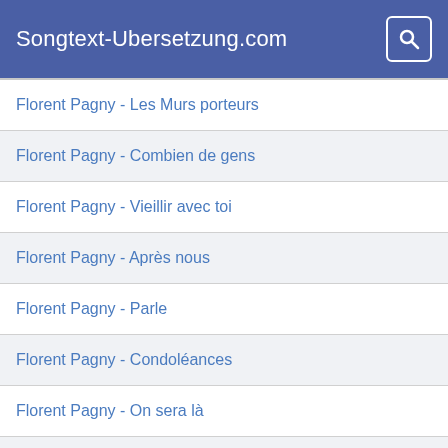Songtext-Ubersetzung.com
Florent Pagny - Les Murs porteurs
Florent Pagny - Combien de gens
Florent Pagny - Vieillir avec toi
Florent Pagny - Après nous
Florent Pagny - Parle
Florent Pagny - Condoléances
Florent Pagny - On sera là
Florent Pagny - Souviens-toi
Mica Paris - Let Me Inside
Mica Paris - Whisper a Prayer
Mica Paris - My One Temptation